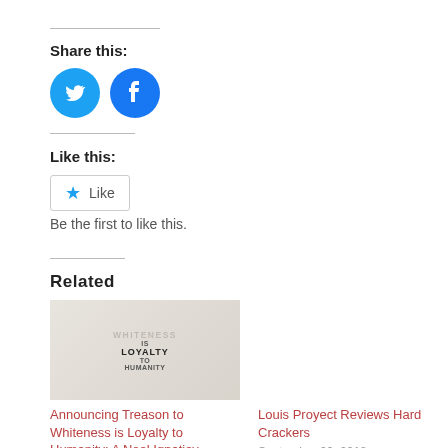Share this:
[Figure (illustration): Twitter and Facebook circular social share icons in blue]
Like this:
[Figure (illustration): Like button widget with star icon]
Be the first to like this.
Related
[Figure (illustration): Image with text: WHITENESS IS LOYALTY TO HUMANITY on a textured background]
Announcing Treason to Whiteness is Loyalty to Humanity: A Noel Ignatiev
Louis Proyect Reviews Hard Crackers
September 29, 2018